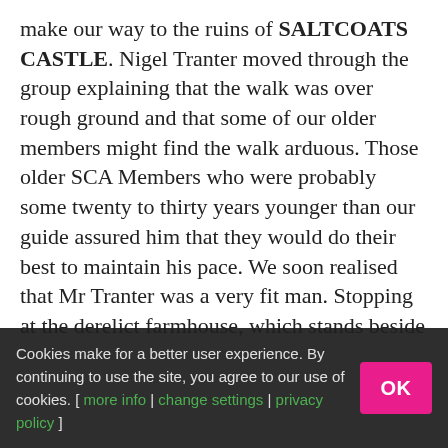make our way to the ruins of SALTCOATS CASTLE. Nigel Tranter moved through the group explaining that the walk was over rough ground and that some of our older members might find the walk arduous. Those older SCA Members who were probably some twenty to thirty years younger than our guide assured him that they would do their best to maintain his pace. We soon realised that Mr Tranter was a very fit man. Stopping at the derelict farmhouse, which stands beside Saltcoats, we examined and debated the details cut in the datestone over the door. The castle itself is now entirely ruinous and overgrown, but no less interesting for that. Many of the remaining features...
Cookies make for a better user experience. By continuing to use the site, you agree to our use of cookies. [ more info | change settings | privacy policy ]